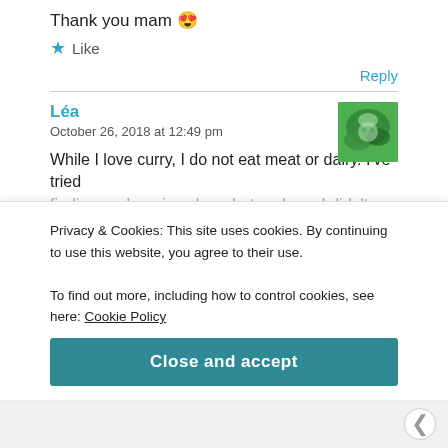Thank you mam 😍
★ Like
Reply
Léa
October 26, 2018 at 12:49 pm
[Figure (photo): Avatar image of commenter Léa, green/nature themed]
While I love curry, I do not eat meat or dairy. I've tried finding such recipes here but perhaps I didn't look hard…
Privacy & Cookies: This site uses cookies. By continuing to use this website, you agree to their use.
To find out more, including how to control cookies, see here: Cookie Policy
Close and accept